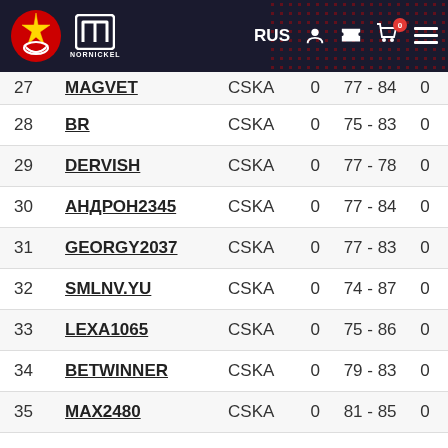CSKA NORNICKEL RUS
| # | Name | Team | 0 | Score | 0 |
| --- | --- | --- | --- | --- | --- |
| 27 | MAGVET | CSKA | 0 | 77 - 84 | 0 |
| 28 | BR | CSKA | 0 | 75 - 83 | 0 |
| 29 | DERVISH | CSKA | 0 | 77 - 78 | 0 |
| 30 | АНДРОН2345 | CSKA | 0 | 77 - 84 | 0 |
| 31 | GEORGY2037 | CSKA | 0 | 77 - 83 | 0 |
| 32 | SMLNV.YU | CSKA | 0 | 74 - 87 | 0 |
| 33 | LEXA1065 | CSKA | 0 | 75 - 86 | 0 |
| 34 | BETWINNER | CSKA | 0 | 79 - 83 | 0 |
| 35 | MAX2480 | CSKA | 0 | 81 - 85 | 0 |